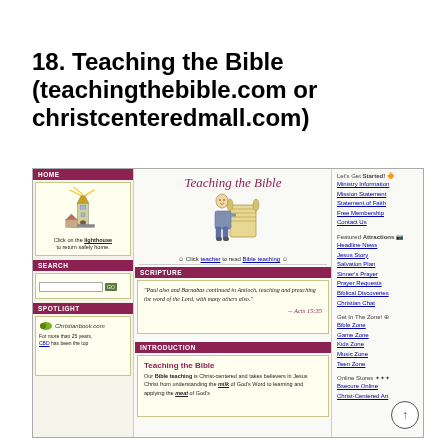18. Teaching the Bible (teachingthebible.com or christcenteredmall.com)
[Figure (screenshot): Screenshot of teachingthebible.com website showing HOME section with lighthouse graphic, SEARCH bar, SPOTLIGHT with Christianbook.com ad, central Teaching the Bible header with teacher illustration and scripture quote from Acts 15:35, INTRODUCTION section, and right-side navigation links including Ministry Information, Mission Statement, Statement of Faith, Free Membership, Contact Us, Headline News, Jesus Story, Salvation Plan, Sinner's Prayer, Prayer Requests, Biblical Discoveries, Christian Chat, Bible Zone, Game Zone, Kids Zone, Music Zone, Teen Zone, Bsecure Online, Christ-Centered Art.]